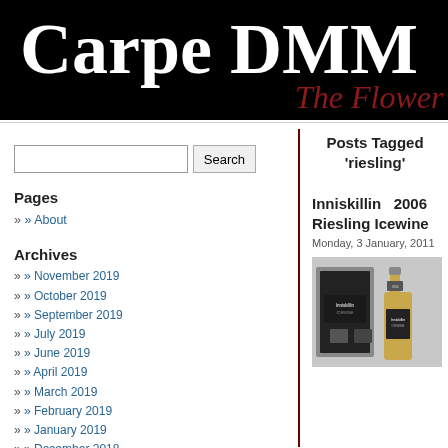Carpe DMM
The Flower in M
Search
Pages
» About
Archives
» November 2019
» October 2019
» September 2019
» July 2019
» June 2019
» April 2019
» March 2019
» February 2019
» January 2019
» December 2018
» November 2018
» October 2018
» August 2018
» July 2018
Posts Tagged ‘riesling’
Inniskillin 2006 Riesling Icewine
Monday, 3 January, 2011
[Figure (photo): Inniskillin 2006 Riesling Icewine bottle and box packaging]